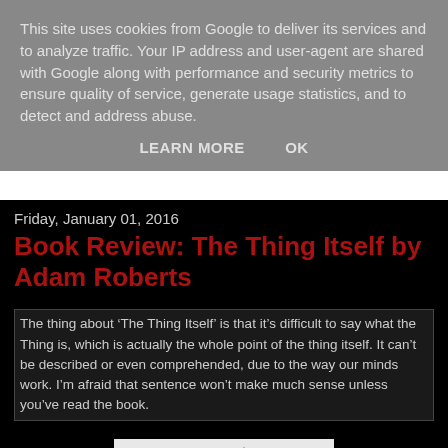This site uses cookies from Google to deliver its services and to analyze traffic. Your IP address and user-agent are shared with Google along with performance and security metrics to ensure quality of service, generate usage statistics, and to detect and address abuse.
LEARN MORE    OK
Friday, January 01, 2016
Book Review: The Thing Itself by Adam Roberts
The thing about ‘The Thing Itself’ is that it’s difficult to say what the Thing is, which is actually the whole point of the thing itself. It can’t be described or even comprehended, due to the way our minds work. I’m afraid that sentence won’t make much sense unless you’ve read the book.
[Figure (photo): Partial view of a book cover or illustration, appears to show a starfield or scattered dots pattern, partially cropped at the bottom of the page.]